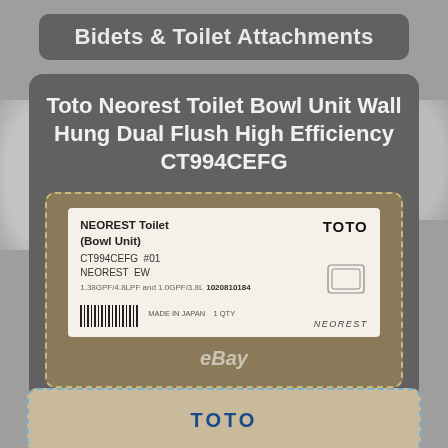Bidets & Toilet Attachments
Toto Neorest Toilet Bowl Unit Wall Hung Dual Flush High Efficiency CT994CEFG
[Figure (photo): Photo of a TOTO NEOREST Toilet Bowl Unit product box label showing model CT994CEFG #01 NEOREST EW, with TOTO logo, certifications, barcode, MADE IN JAPAN text, and eBay watermark]
[Figure (photo): Partial photo of another TOTO product showing TOTO logo text in blue on a cream/beige background]